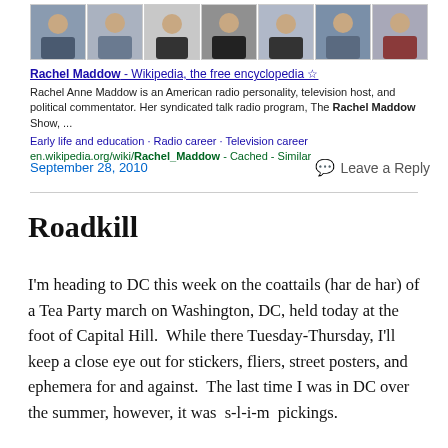[Figure (photo): Strip of 7 photos of Rachel Maddow in various poses and outfits]
Rachel Maddow - Wikipedia, the free encyclopedia ☆
Rachel Anne Maddow is an American radio personality, television host, and political commentator. Her syndicated talk radio program, The Rachel Maddow Show, ...
Early life and education · Radio career · Television career
en.wikipedia.org/wiki/Rachel_Maddow - Cached - Similar
September 28, 2010
💬 Leave a Reply
Roadkill
I'm heading to DC this week on the coattails (har de har) of a Tea Party march on Washington, DC, held today at the foot of Capital Hill.  While there Tuesday-Thursday, I'll keep a close eye out for stickers, fliers, street posters, and ephemera for and against.  The last time I was in DC over the summer, however, it was  s-l-i-m  pickings.